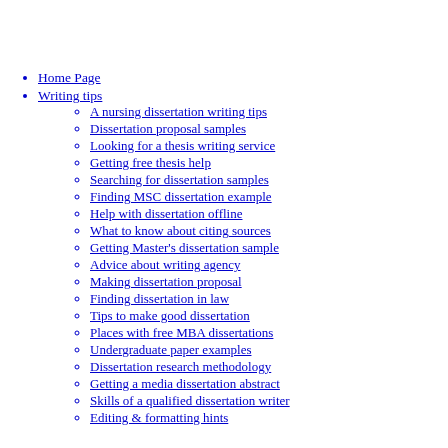Home Page
Writing tips
A nursing dissertation writing tips
Dissertation proposal samples
Looking for a thesis writing service
Getting free thesis help
Searching for dissertation samples
Finding MSC dissertation example
Help with dissertation offline
What to know about citing sources
Getting Master's dissertation sample
Advice about writing agency
Making dissertation proposal
Finding dissertation in law
Tips to make good dissertation
Places with free MBA dissertations
Undergraduate paper examples
Dissertation research methodology
Getting a media dissertation abstract
Skills of a qualified dissertation writer
Editing & formatting hints